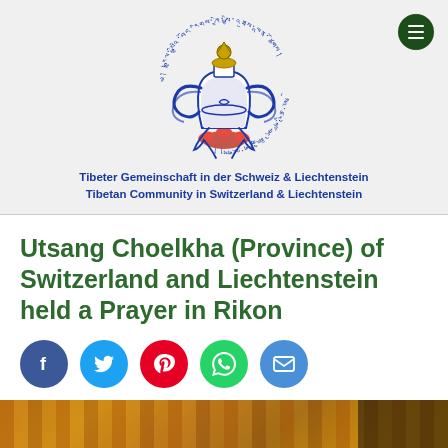[Figure (logo): Tibetan Community in Switzerland & Liechtenstein logo — a ceremonial vase/kalash with Tibetan script in a circle, blue and gold colors]
Tibeter Gemeinschaft in der Schweiz & Liechtenstein
Tibetan Community in Switzerland & Liechtenstein
Utsang Choelkha (Province) of Switzerland and Liechtenstein held a Prayer in Rikon
[Figure (infographic): Social share icons row: Facebook (blue circle), Twitter (light blue circle), Pinterest (red circle), WhatsApp (green circle), Email (blue circle)]
[Figure (photo): Partial photo of a wooden interior, likely a monastery or prayer hall in Rikon, warm golden-brown tones]